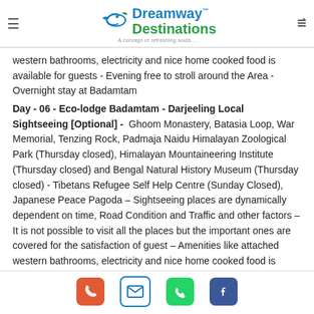Dreamway™ Destinations - A concept of refreshing souls...
western bathrooms, electricity and nice home cooked food is available for guests - Evening free to stroll around the Area - Overnight stay at Badamtam
Day - 06 - Eco-lodge Badamtam - Darjeeling Local Sightseeing [Optional] - Ghoom Monastery, Batasia Loop, War Memorial, Tenzing Rock, Padmaja Naidu Himalayan Zoological Park (Thursday closed), Himalayan Mountaineering Institute (Thursday closed) and Bengal Natural History Museum (Thursday closed) - Tibetans Refugee Self Help Centre (Sunday Closed), Japanese Peace Pagoda – Sightseeing places are dynamically dependent on time, Road Condition and Traffic and other factors – It is not possible to visit all the places but the important ones are covered for the satisfaction of guest – Amenities like attached western bathrooms, electricity and nice home cooked food is available for guests - Evening free to stroll
Phone | Email | WhatsApp | Facebook